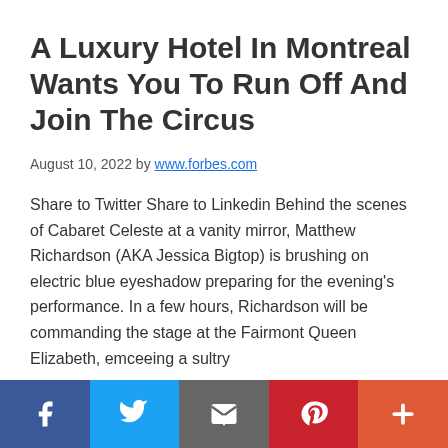A Luxury Hotel In Montreal Wants You To Run Off And Join The Circus
August 10, 2022 by www.forbes.com
Share to Twitter Share to Linkedin Behind the scenes of Cabaret Celeste at a vanity mirror, Matthew Richardson (AKA Jessica Bigtop) is brushing on electric blue eyeshadow preparing for the evening's performance. In a few hours, Richardson will be commanding the stage at the Fairmont Queen Elizabeth, emceeing a sultry
[Figure (other): Social media share bar at the bottom with icons for Facebook, Twitter, Email, Pinterest, and More (+)]